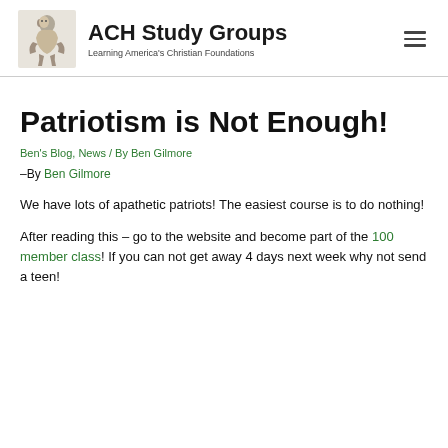ACH Study Groups — Learning America's Christian Foundations
Patriotism is Not Enough!
Ben's Blog, News / By Ben Gilmore
–By Ben Gilmore
We have lots of apathetic patriots! The easiest course is to do nothing!
After reading this – go to the website and become part of the 100 member class! If you can not get away 4 days next week why not send a teen!